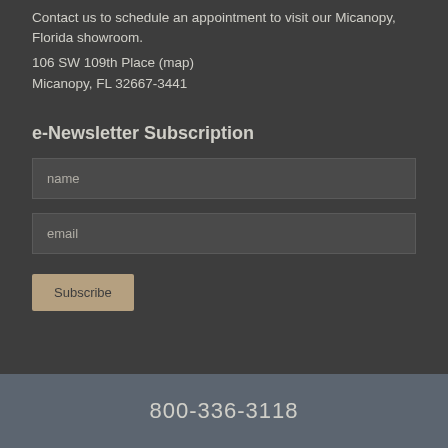Contact us to schedule an appointment to visit our Micanopy, Florida showroom.
106 SW 109th Place (map)
Micanopy, FL 32667-3441
e-Newsletter Subscription
name
email
Subscribe
800-336-3118